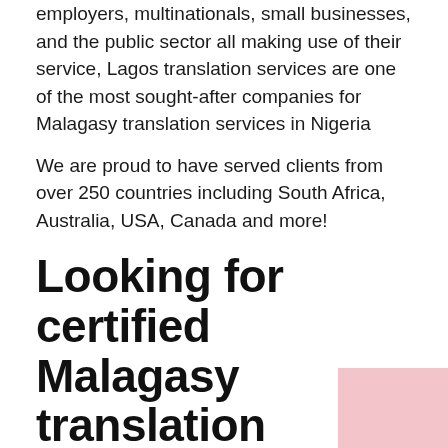employers, multinationals, small businesses, and the public sector all making use of their service, Lagos translation services are one of the most sought-after companies for Malagasy translation services in Nigeria
We are proud to have served clients from over 250 countries including South Africa, Australia, USA, Canada and more!
Looking for certified Malagasy translation services in Nigeria?
Lagos translation services is a certified Malagasy translation service provider in Nigeria. We offer translations in Malagasy to English and other 250 languages. They are used by companies that are there to make a change to different...